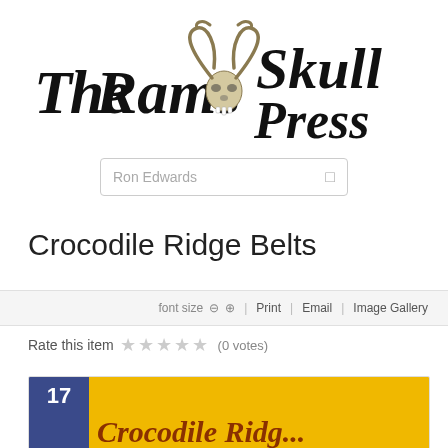[Figure (logo): The Ram's Skull Press logo with stylized gothic text and ram skull illustration in center]
Ron Edwards
Crocodile Ridge Belts
font size   Print   Email   Image Gallery
Rate this item (0 votes)
[Figure (illustration): Book cover preview showing number 17 on blue background and yellow book cover with title 'Crocodile Ridge Belts' in decorative brown text]